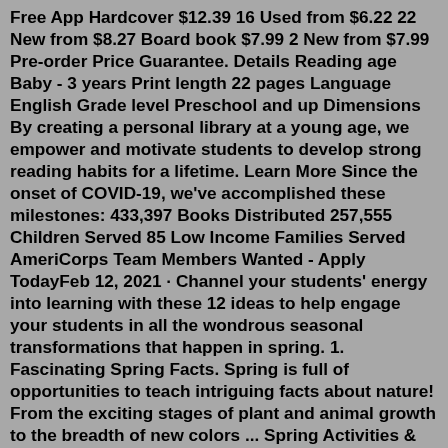Free App Hardcover $12.39 16 Used from $6.22 22 New from $8.27 Board book $7.99 2 New from $7.99 Pre-order Price Guarantee. Details Reading age Baby - 3 years Print length 22 pages Language English Grade level Preschool and up Dimensions By creating a personal library at a young age, we empower and motivate students to develop strong reading habits for a lifetime. Learn More Since the onset of COVID-19, we've accomplished these milestones: 433,397 Books Distributed 257,555 Children Served 85 Low Income Families Served AmeriCorps Team Members Wanted - Apply TodayFeb 12, 2021 · Channel your students' energy into learning with these 12 ideas to help engage your students in all the wondrous seasonal transformations that happen in spring. 1. Fascinating Spring Facts. Spring is full of opportunities to teach intriguing facts about nature! From the exciting stages of plant and animal growth to the breadth of new colors ... Spring Activities & Resources - Printable Book. Spring is a season of new beginnings and lots of new activities in the school curriculum.